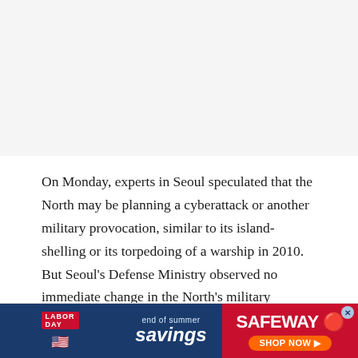[Figure (photo): Image placeholder area at top of page, light gray background]
On Monday, experts in Seoul speculated that the North may be planning a cyberattack or another military provocation, similar to its island-shelling or its torpedoing of a warship in 2010. But Seoul’s Defense Ministry observed no immediate change in the North’s military movements, according to the Associated Press.
Government officials in Seoul also fear that the North is
[Figure (infographic): Safeway advertisement banner: Labor Day end of summer savings, Shop Now button]